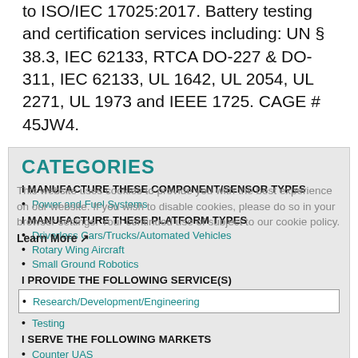to ISO/IEC 17025:2017. Battery testing and certification services including: UN § 38.3, IEC 62133, RTCA DO-227 & DO-311, IEC 62133, UL 1642, UL 2054, UL 2271, UL 1973 and IEEE 1725. CAGE # 45JW4.
CATEGORIES
I MANUFACTURE THESE COMPONENT/SENSOR TYPES
Power and Fuel Systems
I MANUFACTURE THESE PLATFORM TYPES
Driverless Cars/Trucks/Automated Vehicles
Rotary Wing Aircraft
Small Ground Robotics
I PROVIDE THE FOLLOWING SERVICE(S)
Research/Development/Engineering
Testing
I SERVE THE FOLLOWING MARKETS
Counter UAS